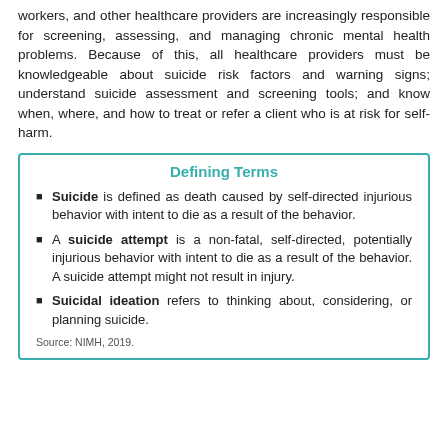workers, and other healthcare providers are increasingly responsible for screening, assessing, and managing chronic mental health problems. Because of this, all healthcare providers must be knowledgeable about suicide risk factors and warning signs; understand suicide assessment and screening tools; and know when, where, and how to treat or refer a client who is at risk for self-harm.
Defining Terms
Suicide is defined as death caused by self-directed injurious behavior with intent to die as a result of the behavior.
A suicide attempt is a non-fatal, self-directed, potentially injurious behavior with intent to die as a result of the behavior. A suicide attempt might not result in injury.
Suicidal ideation refers to thinking about, considering, or planning suicide.
Source: NIMH, 2019.